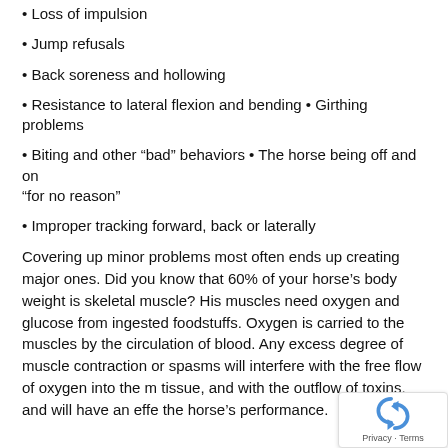• Loss of impulsion
• Jump refusals
• Back soreness and hollowing
• Resistance to lateral flexion and bending • Girthing problems
• Biting and other "bad" behaviors • The horse being off and on "for no reason"
• Improper tracking forward, back or laterally
Covering up minor problems most often ends up creating major ones. Did you know that 60% of your horse's body weight is skeletal muscle? His muscles need oxygen and glucose from ingested foodstuffs. Oxygen is carried to the muscles by the circulation of blood. Any excess degree of muscle contraction or spasms will interfere with the free flow of oxygen into the muscle tissue, and with the outflow of toxins, and will have an effect on the horse's performance.